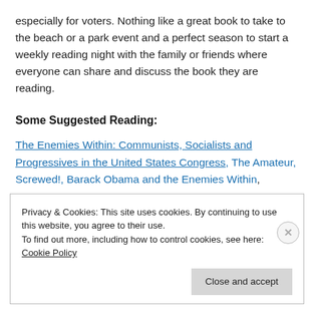especially for voters.  Nothing like a great book to take to the beach or a park event and a perfect season to start a weekly reading night with the family or friends where everyone can share and discuss the book they are reading.
Some  Suggested Reading:
The Enemies Within: Communists, Socialists and Progressives in the United States Congress, The Amateur, Screwed!, Barack Obama and the Enemies Within,
Privacy & Cookies: This site uses cookies. By continuing to use this website, you agree to their use.
To find out more, including how to control cookies, see here: Cookie Policy
Close and accept